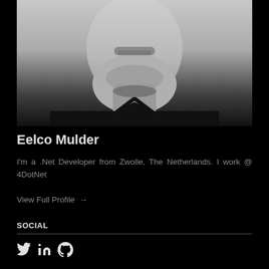[Figure (photo): Black and white portrait photo of Eelco Mulder, showing lower face, neck and shoulders, wearing a dark v-neck shirt]
Eelco Mulder
I'm a .Net Developer from Zwolle, The Netherlands. I work @ 4DotNet
View Full Profile →
SOCIAL
[Figure (other): Social media icons: Twitter (bird), LinkedIn (in), GitHub (octocat)]